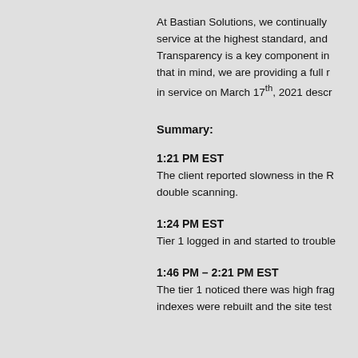At Bastian Solutions, we continually service at the highest standard, and Transparency is a key component in that in mind, we are providing a full r in service on March 17th, 2021 descr
Summary:
1:21 PM EST
The client reported slowness in the R double scanning.
1:24 PM EST
Tier 1 logged in and started to trouble
1:46 PM – 2:21 PM EST
The tier 1 noticed there was high frag indexes were rebuilt and the site test